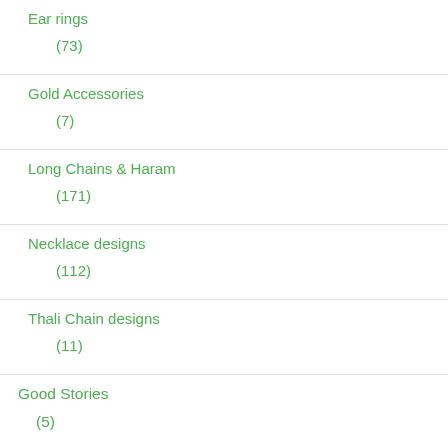Ear rings (73)
Gold Accessories (7)
Long Chains & Haram (171)
Necklace designs (112)
Thali Chain designs (11)
Good Stories (5)
Kids (76)
Long Gowns (5)
Long skirts (85)
Make up (6)
Mens (4)
One gram gold designs (125)